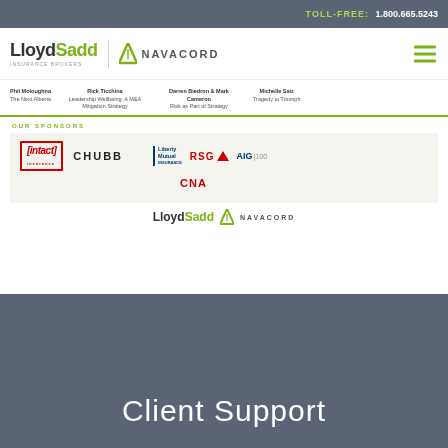TOLL-FREE: 1.800.665.5243
[Figure (logo): LloydSadd Insurance Brokers | Navacord logo with hamburger menu]
Phil Moloughna The Next Alberta | Rick Ticchina Leadership Wellbeing: A M&A Mitigation Strategy | Darren Biedron & Mark Cameron Risk as Part of Strategy | Michelle Saiz Tragedy to Triumph
OUR SPONSORS
[Figure (logo): Sponsor logos: intact insurance, CHUBB, Liberty Mutual, RSG, AIG 100, CNA]
[Figure (logo): LloydSadd | Navacord logo]
Client Support